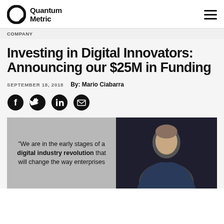Quantum Metric
COMPANY
Investing in Digital Innovators: Announcing our $25M in Funding
SEPTEMBER 18, 2018   By: Mario Ciabarra
[Figure (infographic): Social share icons: Facebook, Twitter, LinkedIn, Email]
[Figure (photo): Hero image with quote: "We are in the early stages of a digital industry revolution that will change the way enterprises..." alongside a photo of a person speaking.]